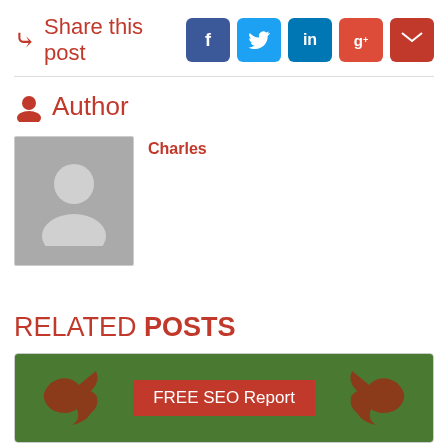➤ Share this post
[Figure (infographic): Social share buttons: Facebook (blue), Twitter (light blue), LinkedIn (dark blue), Google+ (red-orange), Email (dark red)]
Author
[Figure (photo): Default grey avatar placeholder image for author named Charles]
Charles
RELATED POSTS
[Figure (photo): Related post card with green foliage background, wooden Twitter bird decoration, and a red banner reading 'FREE SEO Report']